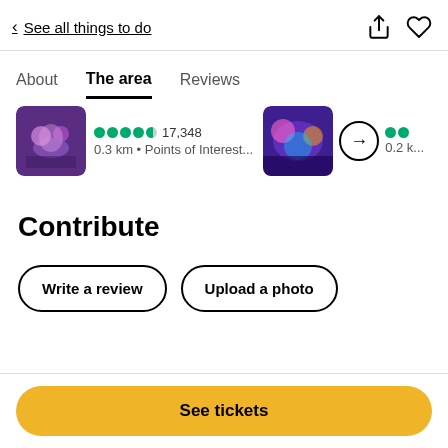< See all things to do
About   The area   Reviews
[Figure (screenshot): Carousel cards showing two venue images with ratings. First card: performance/show image with 4.5 green dots rating, 17,348 reviews, 0.3 km • Points of Interest... Second card: colorful event image with rating dots, 0.2 km, arrow circle navigation button.]
Contribute
Write a review
Upload a photo
See tickets